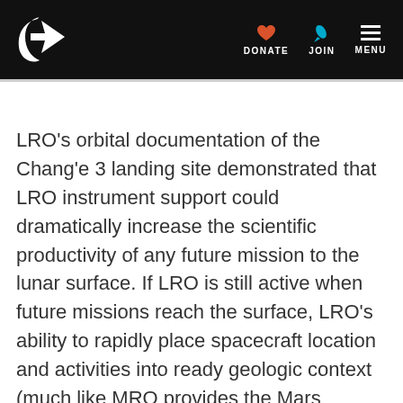Planetary Society header with logo, DONATE, JOIN, MENU navigation
LRO's orbital documentation of the Chang'e 3 landing site demonstrated that LRO instrument support could dramatically increase the scientific productivity of any future mission to the lunar surface. If LRO is still active when future missions reach the surface, LRO's ability to rapidly place spacecraft location and activities into ready geologic context (much like MRO provides the Mars rovers) will